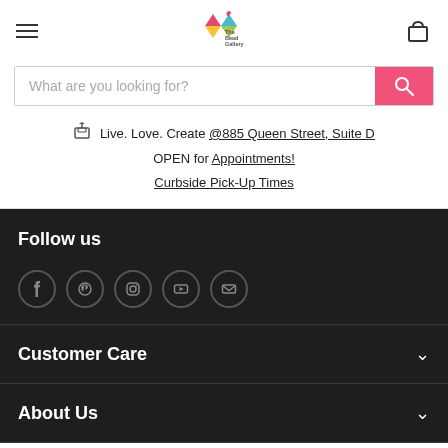The Bead Gallery - navigation header with hamburger menu, logo, and cart icon
What are you looking for? [search box]
Live. Love. Create @885 Queen Street, Suite D
OPEN for Appointments!
Curbside Pick-Up Times
Follow us
[Figure (infographic): Social media icons: Facebook, Pinterest, Instagram, YouTube, Email]
Customer Care
About Us